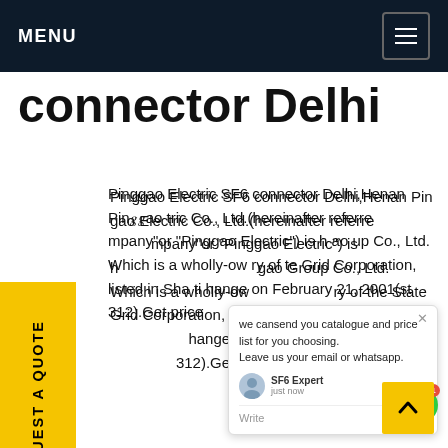MENU
connector Delhi
Pinggao Electric SF6 connector Delhi,Henan Pinggao Electric Co., Ltd.(hereinafter referred to as "the company"or "Pinggao Electric") is h... Pinggao Group Co., Ltd. Which is a wholly-owned subsidiary of the State Grid Corporation, listed in Shanghai... Stock Exchange on February 21, 2001(stock code: 600312).Get price
[Figure (screenshot): Chat popup widget showing: 'we cansend you catalogue and price list for you choosing. Leave us your email or whatsapp.' with SF6 Expert agent label and 'just now' timestamp, Write field with thumbs up and paperclip icons.]
REQUEST A QUOTE